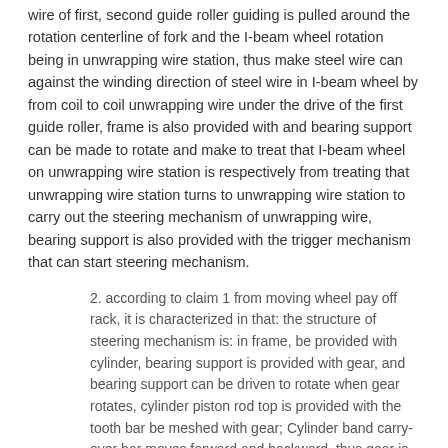wire of first, second guide roller guiding is pulled around the rotation centerline of fork and the I-beam wheel rotation being in unwrapping wire station, thus make steel wire can against the winding direction of steel wire in I-beam wheel by from coil to coil unwrapping wire under the drive of the first guide roller, frame is also provided with and bearing support can be made to rotate and make to treat that I-beam wheel on unwrapping wire station is respectively from treating that unwrapping wire station turns to unwrapping wire station to carry out the steering mechanism of unwrapping wire, bearing support is also provided with the trigger mechanism that can start steering mechanism.
2. according to claim 1 from moving wheel pay off rack, it is characterized in that: the structure of steering mechanism is: in frame, be provided with cylinder, bearing support is provided with gear, and bearing support can be driven to rotate when gear rotates, cylinder piston rod top is provided with the tooth bar be meshed with gear; Cylinder band carry-over bar moves forward and backward, thus gear is rotated.
3. according to claim 1 from moving wheel pay off rack, it is characterized in that: the structure of steering mechanism is: in frame, be provided with motor, bearing